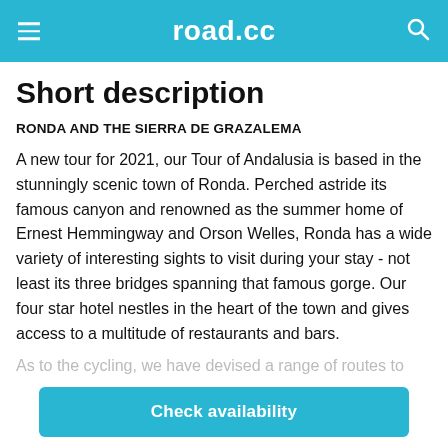road.cc
Short description
RONDA AND THE SIERRA DE GRAZALEMA
A new tour for 2021, our Tour of Andalusia is based in the stunningly scenic town of Ronda. Perched astride its famous canyon and renowned as the summer home of Ernest Hemmingway and Orson Welles, Ronda has a wide variety of interesting sights to visit during your stay - not least its three bridges spanning that famous gorge. Our four star hotel nestles in the heart of the town and gives access to a multitude of restaurants and bars.
As to the cycling, we have devised a range of routes to
Check availability